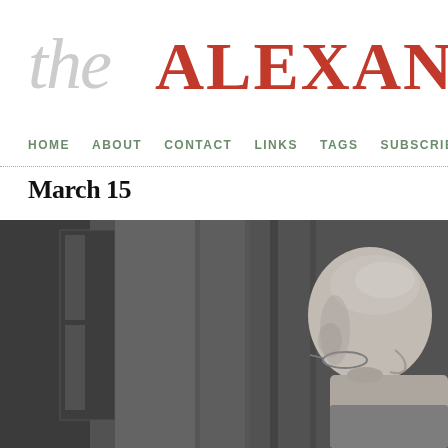the ALEXANDER S
HOME   ABOUT   CONTACT   LINKS   TAGS   SUBSCRIB
March 15
[Figure (photo): Black and white photograph of an older bald man with glasses in profile, looking to the right, with a blurred architectural background.]